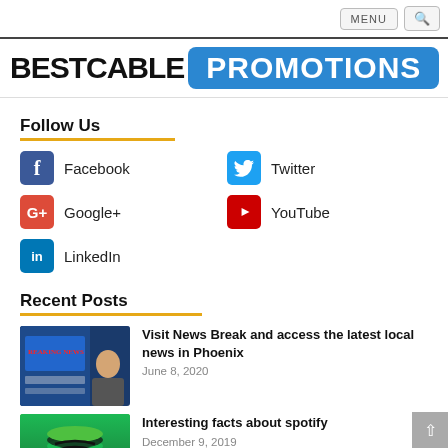MENU | Search
[Figure (logo): BESTCABLE PROMOTIONS logo — BESTCABLE in black bold text, PROMOTIONS in white bold text on blue rounded rectangle background]
Follow Us
Facebook
Twitter
Google+
YouTube
LinkedIn
Recent Posts
[Figure (photo): Breaking news thumbnail — person in front of blue screens showing breaking news]
Visit News Break and access the latest local news in Phoenix
June 8, 2020
[Figure (photo): Spotify logo thumbnail — green circular icon on colorful gradient background]
Interesting facts about spotify
December 9, 2019